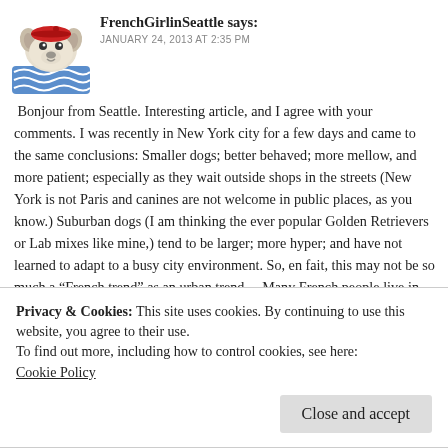[Figure (illustration): Avatar of a small cartoon dog (French Bulldog) wearing a red beret, with blue waves below, representing FrenchGirlinSeattle]
FrenchGirlinSeattle says:
JANUARY 24, 2013 AT 2:35 PM
Bonjour from Seattle. Interesting article, and I agree with your comments. I was recently in New York city for a few days and came to the same conclusions: Smaller dogs; better behaved; more mellow, and more patient; especially as they wait outside shops in the streets (New York is not Paris and canines are not welcome in public places, as you know.) Suburban dogs (I am thinking the ever popular Golden Retrievers or Lab mixes like mine,) tend to be larger; more hyper; and have not learned to adapt to a busy city environment. So, en fait, this may not be so much a “French trend” as an urban trend… Many French people live in cities; in apartment buildings; and the dogs – who get to follow them everywhere daily – are used to following the rules… Just my two cents. This
Privacy & Cookies: This site uses cookies. By continuing to use this website, you agree to their use.
To find out more, including how to control cookies, see here:
Cookie Policy
Close and accept